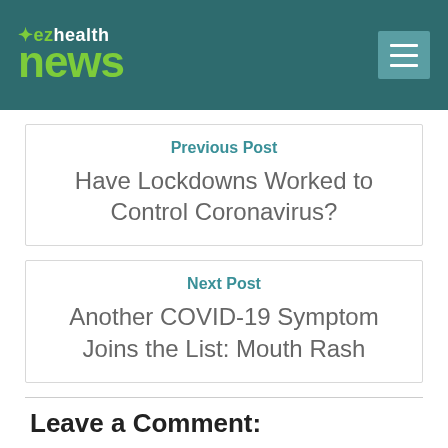[Figure (logo): EZ Health News logo on teal header background with hamburger menu icon]
Previous Post
Have Lockdowns Worked to Control Coronavirus?
Next Post
Another COVID-19 Symptom Joins the List: Mouth Rash
Leave a Comment: